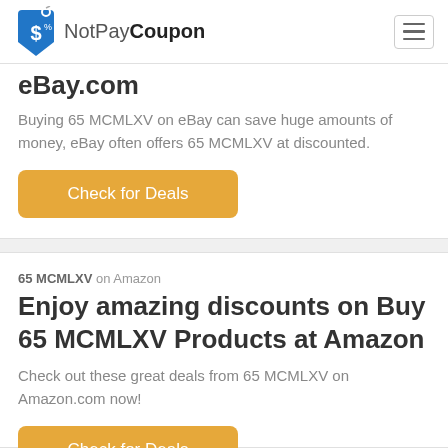NotPayCoupon
eBay.com
Buying 65 MCMLXV on eBay can save huge amounts of money, eBay often offers 65 MCMLXV at discounted.
Check for Deals
65 MCMLXV on Amazon
Enjoy amazing discounts on Buy 65 MCMLXV Products at Amazon
Check out these great deals from 65 MCMLXV on Amazon.com now!
Check for Deals